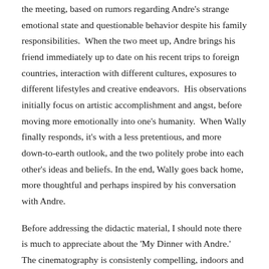the meeting, based on rumors regarding Andre's strange emotional state and questionable behavior despite his family responsibilities.  When the two meet up, Andre brings his friend immediately up to date on his recent trips to foreign countries, interaction with different cultures, exposures to different lifestyles and creative endeavors.  His observations initially focus on artistic accomplishment and angst, before moving more emotionally into one's humanity.  When Wally finally responds, it's with a less pretentious, and more down-to-earth outlook, and the two politely probe into each other's ideas and beliefs. In the end, Wally goes back home, more thoughtful and perhaps inspired by his conversation with Andre.
Before addressing the didactic material, I should note there is much to appreciate about the 'My Dinner with Andre.'  The cinematography is consistenly compelling, indoors and outside. Wallace takes us on a brief tour around early 1980s New York as